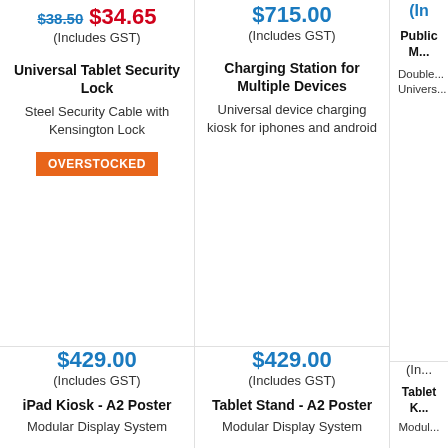$38.50 $34.65 (Includes GST)
Universal Tablet Security Lock
Steel Security Cable with Kensington Lock
OVERSTOCKED
$429.00 (Includes GST)
iPad Kiosk - A2 Poster
Modular Display System
$715.00 (Includes GST)
Charging Station for Multiple Devices
Universal device charging kiosk for iphones and android
$429.00 (Includes GST)
Tablet Stand - A2 Poster
Modular Display System
(In...
Public M...
Double... Univers...
(In...
Tablet K...
Modul...